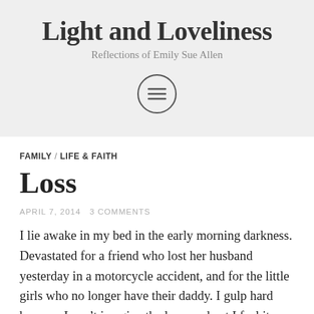Light and Loveliness
Reflections of Emily Sue Allen
[Figure (other): Circular menu/hamburger icon button]
FAMILY / LIFE & FAITH
Loss
APRIL 7, 2014   3 COMMENTS
I lie awake in my bed in the early morning darkness. Devastated for a friend who lost her husband yesterday in a motorcycle accident, and for the little girls who no longer have their daddy. I gulp hard because I can't imagine the loss, and yet I feel it with them. Can't believe it. Don't want to believe it. Did that really